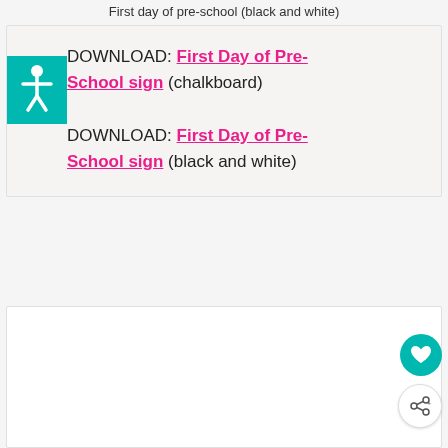First day of pre-school (black and white)
DOWNLOAD: First Day of Pre-School sign (chalkboard)
DOWNLOAD: First Day of Pre-School sign (black and white)
[Figure (illustration): White rectangular card/image area at bottom of page with heart and share icons on right side]